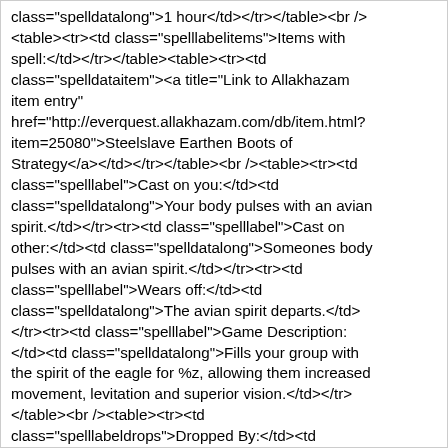class="spelldatalong">1 hour</td></tr></table><br /><table><tr><td class="spelllabelitems">Items with spell:</td></tr></table><table><tr><td class="spelldataitem"><a title="Link to Allakhazam item entry" href="http://everquest.allakhazam.com/db/item.html?item=25080">Steelslave Earthen Boots of Strategy</a></td></tr></table><br /><table><tr><td class="spelllabel">Cast on you:</td><td class="spelldatalong">Your body pulses with an avian spirit.</td></tr><tr><td class="spelllabel">Cast on other:</td><td class="spelldatalong">Someones body pulses with an avian spirit.</td></tr><tr><td class="spelllabel">Wears off:</td><td class="spelldatalong">The avian spirit departs.</td></tr><tr><td class="spelllabel">Game Description:</td><td class="spelldatalong">Fills your group with the spirit of the eagle for %z, allowing them increased movement, levitation and superior vision.</td></tr></table><br /><table><tr><td class="spelllabeldrops">Dropped By:</td><td class="spelllabeldrops">Zone:</td></tr><tr><td class="spellinfodrops"><a href="http://everquest.allakhazam.com/db/item.html?item=16329" title="Link to Allakhazam Entry for